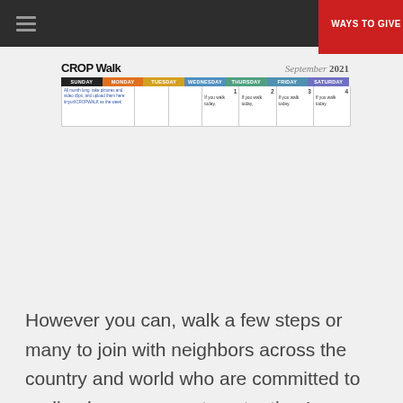WAYS TO GIVE
[Figure (screenshot): CROP Walk September 2021 calendar showing first week with days Sunday through Saturday. Sunday cell spans the full first row with text about uploading photos/video clips. Wednesday shows day 1, Thursday day 2 with 'If you walk today.', Friday day 3 with 'If you walk today.', Saturday day 4 with 'If you walk today.']
However you can, walk a few steps or many to join with neighbors across the country and world who are committed to ending hunger, one step at a time!